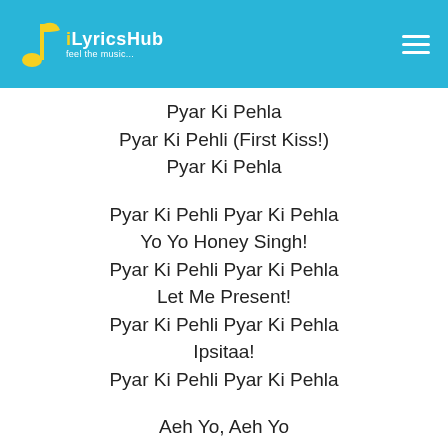iLyricsHub — feel the music
Pyar Ki Pehla
Pyar Ki Pehli (First Kiss!)
Pyar Ki Pehla

Pyar Ki Pehli Pyar Ki Pehla
Yo Yo Honey Singh!
Pyar Ki Pehli Pyar Ki Pehla
Let Me Present!
Pyar Ki Pehli Pyar Ki Pehla
Ipsitaa!
Pyar Ki Pehli Pyar Ki Pehla

Aeh Yo, Aeh Yo
Seene Se Laga Ke Baahon Mein
Mujhe Le Lo, Le Lo
Jaldi Hai Kaisi
I Like It Nice Sun Slow